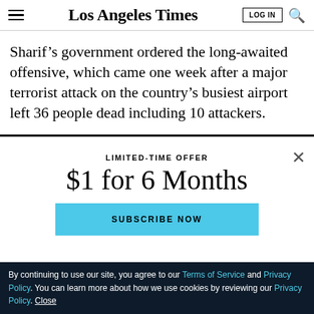Los Angeles Times
Sharif’s government ordered the long-awaited offensive, which came one week after a major terrorist attack on the country’s busiest airport left 36 people dead including 10 attackers.
LIMITED-TIME OFFER
$1 for 6 Months
SUBSCRIBE NOW
By continuing to use our site, you agree to our Terms of Service and Privacy Policy. You can learn more about how we use cookies by reviewing our Privacy Policy. Close